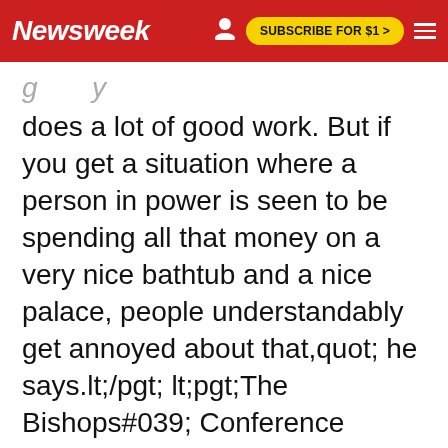Newsweek | SUBSCRIBE FOR $1 >
does a lot of good work. But if you get a situation where a person in power is seen to be spending all that money on a very nice bathtub and a nice palace, people understandably get annoyed about that,quot; he says.lt;/pgt; lt;pgt;The Bishops#039; Conference recorded almost 24 million Catholics in the country, making up 29.5% of the country#039;s population. There was a slight increase in the number of Catholic marriages and baptisms carried out in 2014